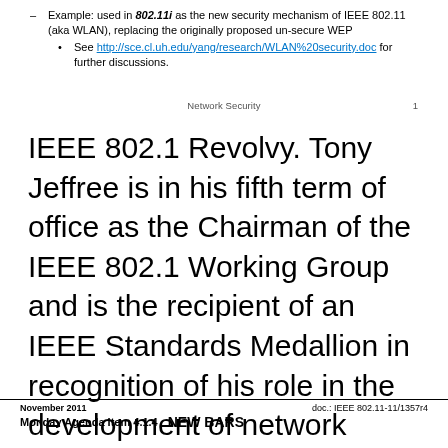Example: used in 802.11i as the new security mechanism of IEEE 802.11 (aka WLAN), replacing the originally proposed un-secure WEP
See http://sce.cl.uh.edu/yang/research/WLAN%20security.doc for further discussions.
Network Security    1
IEEE 802.1 Revolvy. Tony Jeffree is in his fifth term of office as the Chairman of the IEEE 802.1 Working Group and is the recipient of an IEEE Standards Medallion in recognition of his role in the development of network management standards in IEEE 802 and ISO., Load Sharing with BGP in Single and Multihomed Environments Sample Configurations 40.pdf.
November 2011    doc.: IEEE 802.11-11/1357r4
Monday Agenda Item 4.1.4   NEW BARS